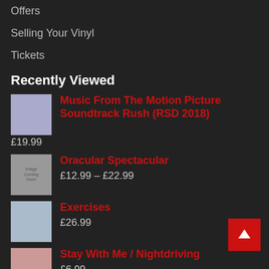Offers
Selling Your Vinyl
Tickets
Recently Viewed
Music From The Motion Picture Soundtrack Rush (RSD 2018)
£19.99
Oracular Spectacular
£12.99 – £22.99
Exercises
£26.99
Stay With Me / Nightdriving
£6.99
The Definitive Collection
£5.99